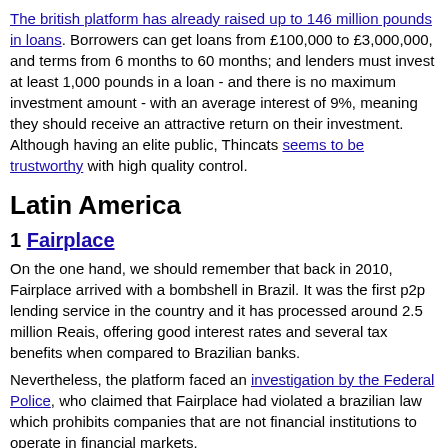The british platform has already raised up to 146 million pounds in loans. Borrowers can get loans from £100,000 to £3,000,000, and terms from 6 months to 60 months; and lenders must invest at least 1,000 pounds in a loan - and there is no maximum investment amount - with an average interest of 9%, meaning they should receive an attractive return on their investment. Although having an elite public, Thincats seems to be trustworthy with high quality control.
Latin America
1 Fairplace
On the one hand, we should remember that back in 2010, Fairplace arrived with a bombshell in Brazil. It was the first p2p lending service in the country and it has processed around 2.5 million Reais, offering good interest rates and several tax benefits when compared to Brazilian banks.
Nevertheless, the platform faced an investigation by the Federal Police, who claimed that Fairplace had violated a brazilian law which prohibits companies that are not financial institutions to operate in financial markets. Its founder Eldes Matjuzzo explained that his company did not